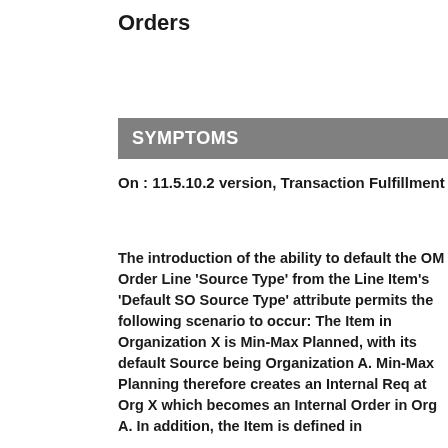Orders
SYMPTOMS
On : 11.5.10.2 version, Transaction Fulfillment
The introduction of the ability to default the OM Order Line 'Source Type' from the Line Item's 'Default SO Source Type' attribute permits the following scenario to occur: The Item in Organization X is Min-Max Planned, with its default Source being Organization A. Min-Max Planning therefore creates an Internal Req at Org X which becomes an Internal Order in Org A. In addition, the Item is defined in